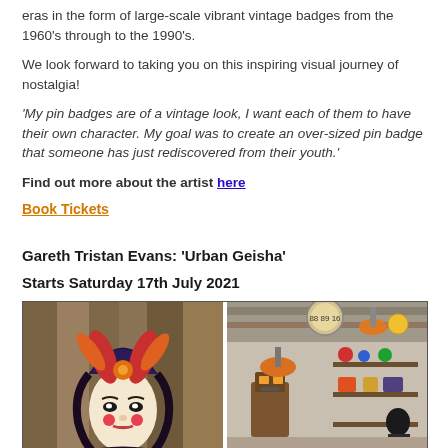eras in the form of large-scale vibrant vintage badges from the 1960's through to the 1990's.
We look forward to taking you on this inspiring visual journey of nostalgia!
'My pin badges are of a vintage look, I want each of them to have their own character. My goal was to create an over-sized pin badge that someone has just rediscovered from their youth.'
Find out more about the artist here
Book Tickets
Gareth Tristan Evans: 'Urban Geisha'
Starts Saturday 17th July 2021
[Figure (photo): Two side-by-side photos: left shows a colorful illustrated geisha mural with ornate headdress, right shows an interior shop/gallery scene with signage and display items.]